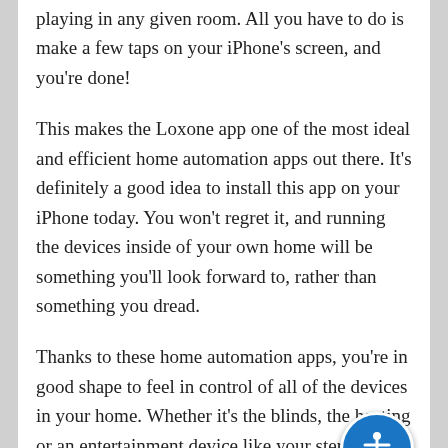playing in any given room. All you have to do is make a few taps on your iPhone's screen, and you're done!
This makes the Loxone app one of the most ideal and efficient home automation apps out there. It's definitely a good idea to install this app on your iPhone today. You won't regret it, and running the devices inside of your own home will be something you'll look forward to, rather than something you dread.
Thanks to these home automation apps, you're in good shape to feel in control of all of the devices in your home. Whether it's the blinds, the heating or an entertainment device like your stereo, the apps have you covered so that you can proceed